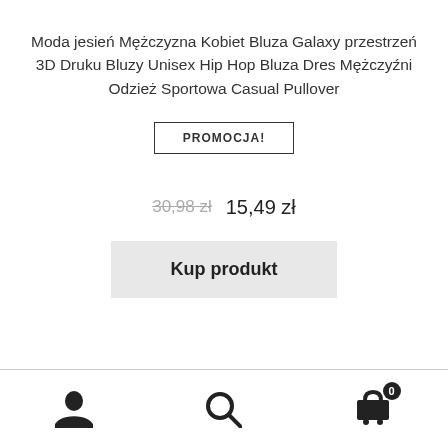Moda jesień Mężczyzna Kobiet Bluza Galaxy przestrzeń 3D Druku Bluzy Unisex Hip Hop Bluza Dres Mężczyźni Odzież Sportowa Casual Pullover
PROMOCJA!
30,98 zł  15,49 zł
Kup produkt
Navigation icons: user, search, cart (0)